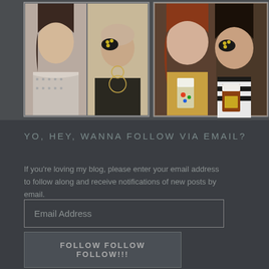[Figure (photo): Three photos showing people. Left two photos are individual portraits side by side (one person in hospital gown, one person with eye patch wearing dark tank top and necklaces). Right photo is two people together at a bar/pub holding beer glasses, one wearing an eye patch.]
YO, HEY, WANNA FOLLOW VIA EMAIL?
If you're loving my blog, please enter your email address to follow along and receive notifications of new posts by email.
Email Address
FOLLOW FOLLOW FOLLOW!!!